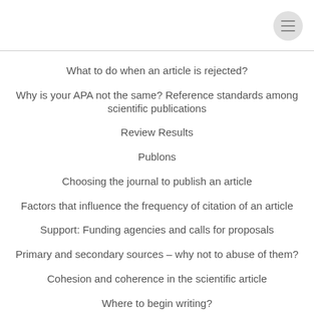[Figure (other): Hamburger menu icon (three horizontal lines in a circle) in top-right corner]
What to do when an article is rejected?
Why is your APA not the same? Reference standards among scientific publications
Review Results
Publons
Choosing the journal to publish an article
Factors that influence the frequency of citation of an article
Support: Funding agencies and calls for proposals
Primary and secondary sources – why not to abuse of them?
Cohesion and coherence in the scientific article
Where to begin writing?
How to write an abstract for a scientific publication
English: The Language of Science